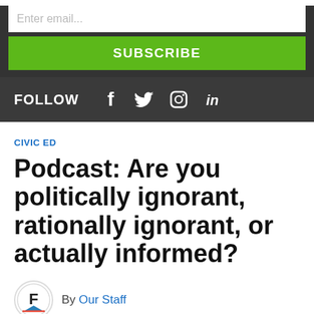Enter email...
SUBSCRIBE
FOLLOW
[Figure (infographic): Social media follow icons: Facebook (f), Twitter (bird), Instagram (camera), LinkedIn (in)]
CIVIC ED
Podcast: Are you politically ignorant, rationally ignorant, or actually informed?
By Our Staff